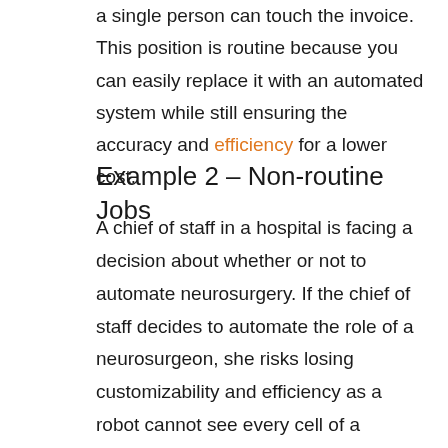a single person can touch the invoice. This position is routine because you can easily replace it with an automated system while still ensuring the accuracy and efficiency for a lower cost.
Example 2 – Non-routine Jobs
A chief of staff in a hospital is facing a decision about whether or not to automate neurosurgery. If the chief of staff decides to automate the role of a neurosurgeon, she risks losing customizability and efficiency as a robot cannot see every cell of a cancerous tumor. Sure, a neurosurgeon is human and will make mistakes. But a neurosurgeon has approximately 8 years of school with 4 more years of training and probably have 5-15 years under their bolt. In this case, the neurosurgeon's skill and ability